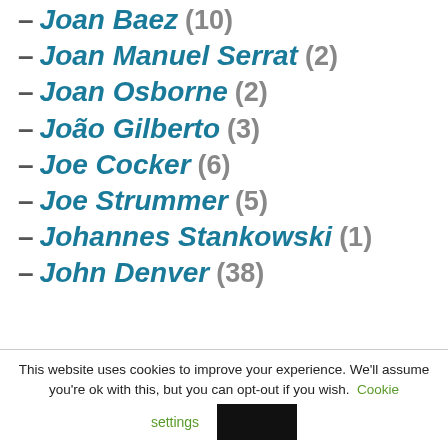– Joan Baez (10)
– Joan Manuel Serrat (2)
– Joan Osborne (2)
– João Gilberto (3)
– Joe Cocker (6)
– Joe Strummer (5)
– Johannes Stankowski (1)
– John Denver (38)
This website uses cookies to improve your experience. We'll assume you're ok with this, but you can opt-out if you wish. Cookie settings